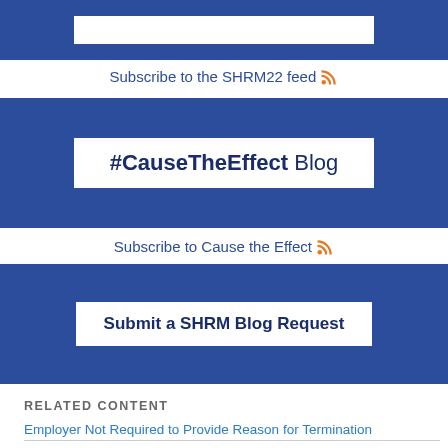[Figure (other): Blue banner with white inner box (partial, top of page)]
Subscribe to the SHRM22 feed 🔶
[Figure (other): Blue banner with white inner box containing '#CauseTheEffect Blog']
Subscribe to Cause the Effect 🔶
[Figure (other): Blue banner with white inner box containing 'Submit a SHRM Blog Request']
RELATED CONTENT
Employer Not Required to Provide Reason for Termination
December 17, 2021